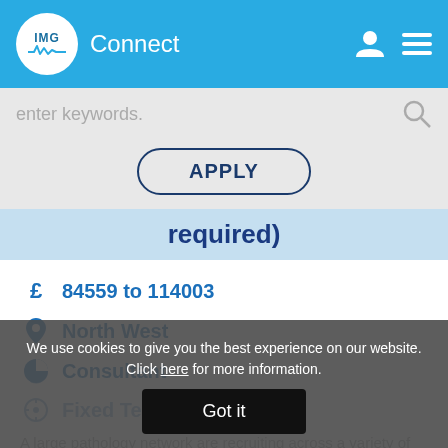IMG Connect
enter keywords.
APPLY
required)
£  84559 to 114003
North West
Consultant
Fixed Term
A large pathology network are recruiting across a variety of cellular pathology roles, with
We use cookies to give you the best experience on our website. Click here for more information.
Got it